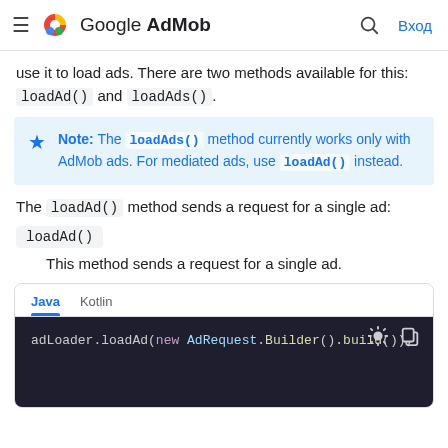≡ Google AdMob  🔍 Вход
use it to load ads. There are two methods available for this: loadAd() and loadAds().
Note: The loadAds() method currently works only with AdMob ads. For mediated ads, use loadAd() instead.
The loadAd() method sends a request for a single ad:
loadAd()
This method sends a request for a single ad.
[Figure (screenshot): Code block with Java/Kotlin tabs showing: adLoader.loadAd(new AdRequest.Builder().build());]